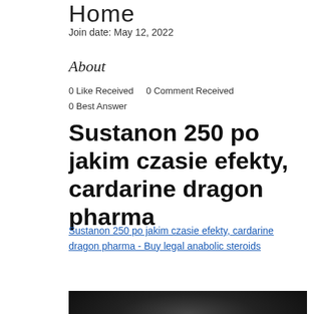Home
Join date: May 12, 2022
About
0 Like Received    0 Comment Received
0 Best Answer
Sustanon 250 po jakim czasie efekty, cardarine dragon pharma
Sustanon 250 po jakim czasie efekty, cardarine dragon pharma - Buy legal anabolic steroids
[Figure (photo): Dark blurred photo at bottom of page]